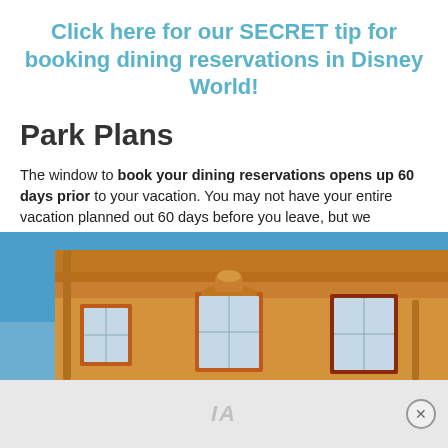Click here for our SECRET tip for booking dining reservations in Disney World!
Park Plans
The window to book your dining reservations opens up 60 days prior to your vacation. You may not have your entire vacation planned out 60 days before you leave, but we recommend at least knowing what park you're going to be in each day, as this will help you when it comes to dining! You don't want to be making dining reservations for a restaurant in a park you won't be visiting that day.
[Figure (photo): Exterior of a Disney World building with ornate Mediterranean-style architecture, yellow/orange facade with decorative trim, windows with shutters, against a blue sky. An advertisement overlay partially covers the bottom portion.]